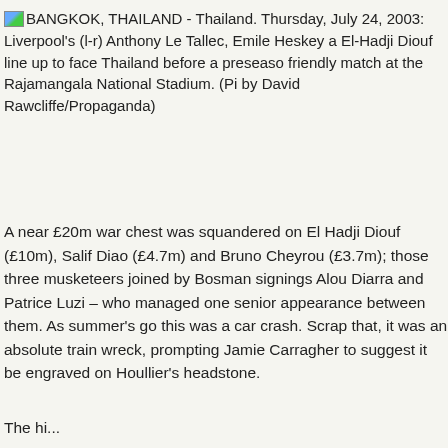BANGKOK, THAILAND - Thailand. Thursday, July 24, 2003: Liverpool's (l-r) Anthony Le Tallec, Emile Heskey and El-Hadji Diouf line up to face Thailand before a preseason friendly match at the Rajamangala National Stadium. (Picture by David Rawcliffe/Propaganda)
A near £20m war chest was squandered on El Hadji Diouf (£10m), Salif Diao (£4.7m) and Bruno Cheyrou (£3.7m); those three musketeers joined by Bosman signings Alou Diarra and Patrice Luzi – who managed one senior appearance between them. As summer's go this was a car crash. Scrap that, it was an absolute train wreck, prompting Jamie Carragher to suggest it be engraved on Houllier's headstone.
The third...